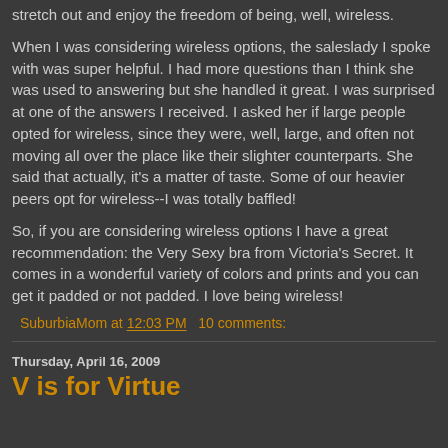stretch out and enjoy the freedom of being, well, wireless.
When I was considering wireless options, the saleslady I spoke with was super helpful. I had more questions than I think she was used to answering but she handled it great. I was surprised at one of the answers I received. I asked her if large people opted for wireless, since they were, well, large, and often not moving all over the place like their slighter counterparts. She said that actually, it's a matter of taste. Some of our heavier peers opt for wireless--I was totally baffled!
So, if you are considering wireless options I have a great recommendation: the Very Sexy bra from Victoria's Secret. It comes in a wonderful variety of colors and prints and you can get it padded or not padded. I love being wireless!
SuburbiaMom at 12:03 PM   10 comments:
Thursday, April 16, 2009
V is for Virtue